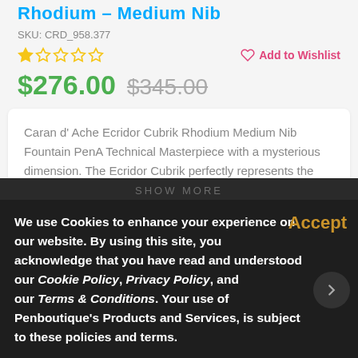Rhodium – Medium Nib
SKU: CRD_958.377
★☆☆☆☆ (star rating, 1 of 5)
Add to Wishlist
$276.00  $345.00
Caran d' Ache Ecridor Cubrik Rhodium Medium Nib Fountain PenA Technical Masterpiece with a mysterious dimension. The Ecridor Cubrik perfectly represents the spirit of innovation in la Maison de Haute Ecriture through a superb blend of ingenuity and
SHOW MORE
We use Cookies to enhance your experience on our website. By using this site, you acknowledge that you have read and understood our Cookie Policy, Privacy Policy, and our Terms & Conditions. Your use of Penboutique's Products and Services, is subject to these policies and terms.
Accept